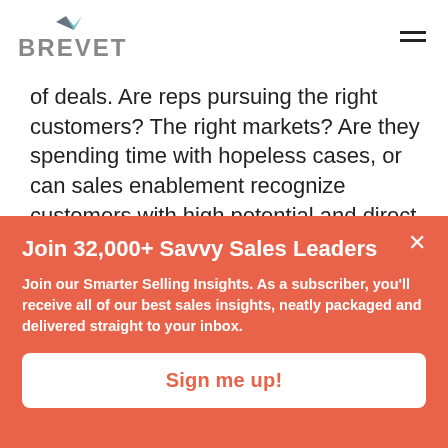[Figure (logo): Brevet logo with teal checkmark above the text BREVET in grey]
of deals. Are reps pursuing the right customers? The right markets? Are they spending time with hopeless cases, or can sales enablement recognize customers with high potential and direct reps toward those?
Join 32,000+ Savvy Sales Leaders
Join our Smarter Selling Insights. As a subscriber, you'll receive all of our best sales insights, neatly packaged and delivered straight to your inbox.
Sign me up!